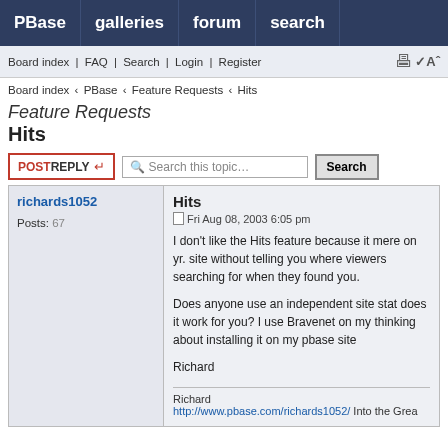PBase | galleries | forum | search
Board index | FAQ | Search | Login | Register
Board index ‹ PBase ‹ Feature Requests ‹ Hits
Feature Requests
Hits
POSTREPLY | Search this topic... | Search
richards1052
Posts: 67
Hits
Fri Aug 08, 2003 6:05 pm
I don't like the Hits feature because it mere on yr. site without telling you where viewers searching for when they found you.

Does anyone use an independent site stat does it work for you? I use Bravenet on my thinking about installing it on my pbase site

Richard
Richard
http://www.pbase.com/richards1052/ Into the Grea